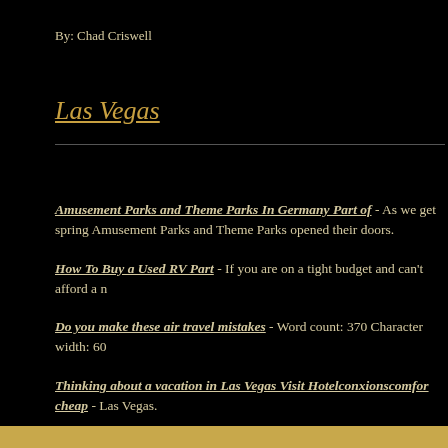By: Chad Criswell
Las Vegas
Amusement Parks and Theme Parks In Germany Part of - As we get spring Amusement Parks and Theme Parks opened their doors.
How To Buy a Used RV Part - If you are on a tight budget and can't afford a n
Do you make these air travel mistakes - Word count: 370 Character width: 60
Thinking about a vacation in Las Vegas Visit Hotelconxionscomfor cheap - Las Vegas.
Thinking about a vacation in New York Visit Hotelconxionscom - Choose fr
more...